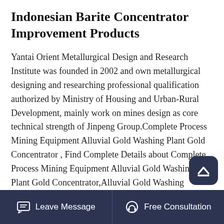Indonesian Barite Concentrator Improvement Products
Yantai Orient Metallurgical Design and Research Institute was founded in 2002 and own metallurgical designing and researching professional qualification authorized by Ministry of Housing and Urban-Rural Development, mainly work on mines design as core technical strength of Jinpeng Group.Complete Process Mining Equipment Alluvial Gold Washing Plant Gold Concentrator , Find Complete Details about Complete Process Mining Equipment Alluvial Gold Washing Plant Gold Concentrator,Alluvial Gold Washing Plant,Mining Equipment,Gold Concentrator from Mineral Separator Supplier or Manufacturer-Jiangxi Jinshibao Mining
Leave Message   Free Consultation